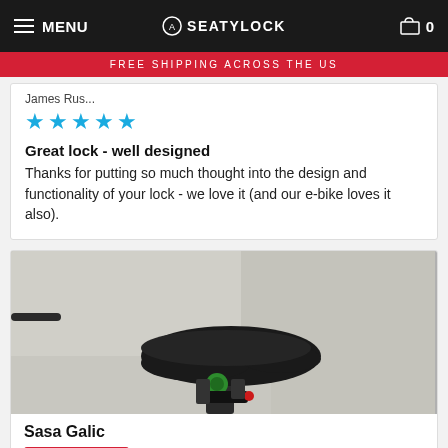MENU | SEATYLOCK | 0
FREE SHIPPING ACROSS THE US
James Rus...
[Figure (other): Five cyan/blue star rating icons]
Great lock - well designed
Thanks for putting so much thought into the design and functionality of your lock - we love it (and our e-bike loves it also).
[Figure (photo): Photo of a black bicycle seat with a green Seatylock lock mechanism attached underneath, on a light background.]
Sasa Galic
Verified Buyer